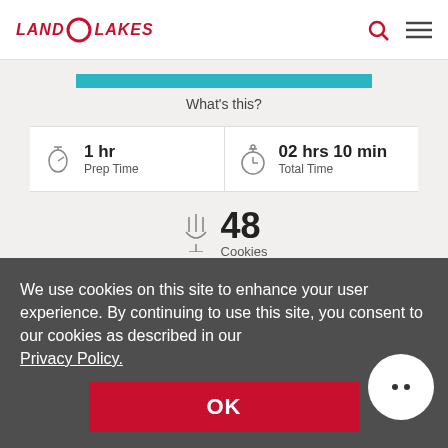Land O Lakes
What's this?
1 hr Prep Time
02 hrs 10 min Total Time
48 Cookies
We use cookies on this site to enhance your user experience. By continuing to use this site, you consent to our cookies as described in our Privacy Policy.
OK
Ingredients
COOKIE